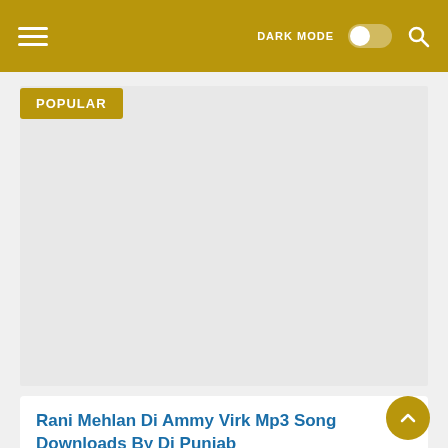DARK MODE [toggle] [search]
POPULAR
[Figure (other): Advertisement placeholder area, light gray background]
Rani Mehlan Di Ammy Virk Mp3 Song Downloads By Dj Punjab
DjPunjab Songs 2020 Official Website.Download Latest Mp3 ....
Spartacus All Season Download 480p Hindi